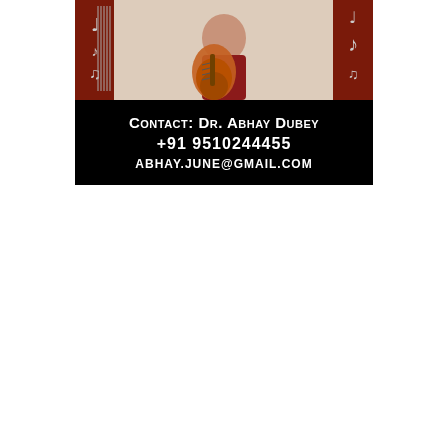[Figure (photo): A person in a red sweater holding a tanpura (Indian classical string instrument), photographed against a decorative background with music-themed imagery on the sides.]
Contact: Dr. Abhay Dubey
+91 9510244455
abhay.june@gmail.com